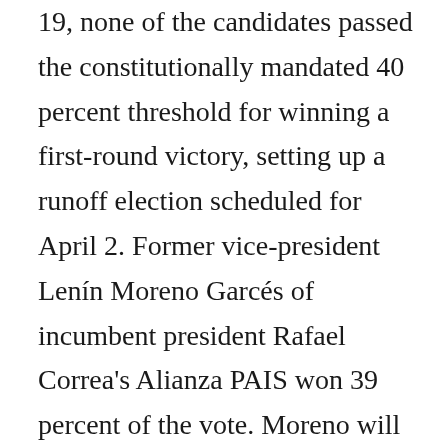19, none of the candidates passed the constitutionally mandated 40 percent threshold for winning a first-round victory, setting up a runoff election scheduled for April 2. Former vice-president Lenín Moreno Garcés of incumbent president Rafael Correa's Alianza PAIS won 39 percent of the vote. Moreno will contest the runoff against Guillermo Lasso Mendoza of the CREO Movement, who won 28.1 percent. Cynthia Viteri of the Social Christian Party (PSC) won 16.3 percent, and five other candidates split the remaining votes. Correa, who has served three terms in office, was ineligible to run for re-election. I...